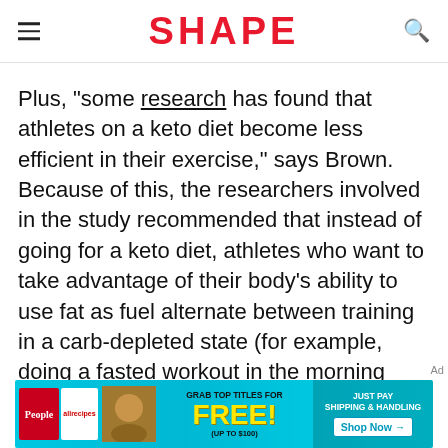SHAPE
Plus, "some research has found that athletes on a keto diet become less efficient in their exercise," says Brown. Because of this, the researchers involved in the study recommended that instead of going for a keto diet, athletes who want to take advantage of their body's ability to use fat as fuel alternate between training in a carb-depleted state (for example, doing a fasted workout in the morning after not eating carbs the night
[Figure (photo): Advertisement banner for magazine subscription offer: People and allrecipes magazines shown, with 'GRAB TOP TITLES FOR FREE! (UP TO $100)' text and 'JUST PAY SHIPPING & HANDLING / Shop Now' button on cyan background.]